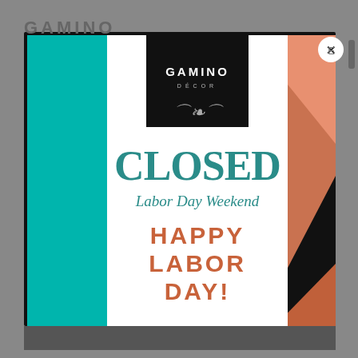[Figure (illustration): Gamino Décor store closed notice popup modal with colorful geometric background in teal and orange/coral colors. Contains the Gamino Décor logo on black background, large teal 'CLOSED' text, italic 'Labor Day Weekend' subtitle, and orange bold 'HAPPY LABOR DAY!' message. A white X close button appears in the top right corner.]